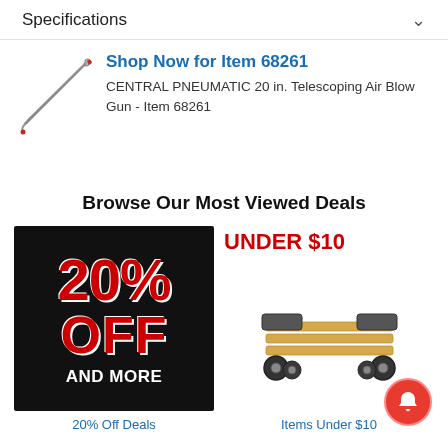Specifications
[Figure (illustration): CENTRAL PNEUMATIC 20 in. Telescoping Air Blow Gun product image - a long thin metal blow gun with red trigger]
Shop Now for Item 68261
CENTRAL PNEUMATIC 20 in. Telescoping Air Blow Gun - Item 68261
Browse Our Most Viewed Deals
[Figure (illustration): Black background promotional banner with red bold text reading '20% OFF AND MORE']
20% Off Deals
[Figure (illustration): Furniture moving dolly with wood frame and black carpet on top with four caster wheels]
UNDER $10
Items Under $10